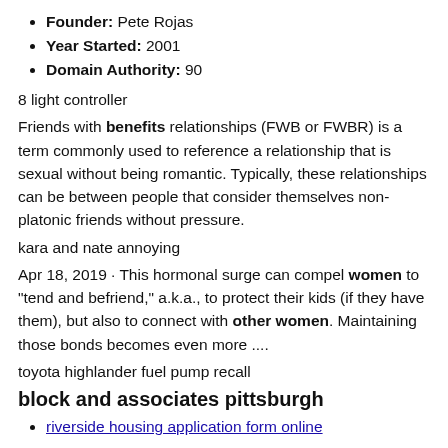Founder: Pete Rojas
Year Started: 2001
Domain Authority: 90
8 light controller
Friends with benefits relationships (FWB or FWBR) is a term commonly used to reference a relationship that is sexual without being romantic. Typically, these relationships can be between people that consider themselves non-platonic friends without pressure.
kara and nate annoying
Apr 18, 2019 · This hormonal surge can compel women to “tend and befriend,” a.k.a., to protect their kids (if they have them), but also to connect with other women. Maintaining those bonds becomes even more ....
toyota highlander fuel pump recall
block and associates pittsburgh
riverside housing application form online